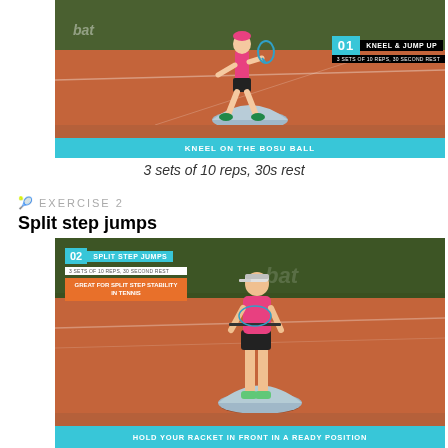[Figure (photo): Female tennis player crouching on a BOSU ball on clay court, holding a racket. Overlay shows '01 KNEEL & JUMP UP' and '3 SETS OF 10 REPS, 30 SECOND REST'. Blue caption bar reads 'KNEEL ON THE BOSU BALL'.]
3 sets of 10 reps, 30s rest
EXERCISE 2
Split step jumps
[Figure (photo): Female tennis player standing on a BOSU ball on clay court, holding a racket. Overlays show '02 SPLIT STEP JUMPS', '3 SETS OF 10 REPS, 30 SECOND REST', and 'GREAT FOR SPLIT STEP STABILITY IN TENNIS'. Blue caption bar reads 'HOLD YOUR RACKET IN FRONT IN A READY POSITION'.]